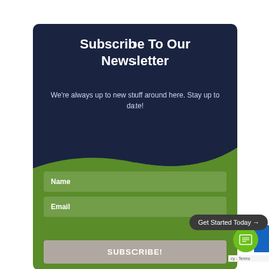Subscribe To Our Newsletter
We're always up to new stuff around here. Stay up to date!
Name
Email
SUBSCRIBE!
Get Started Today →